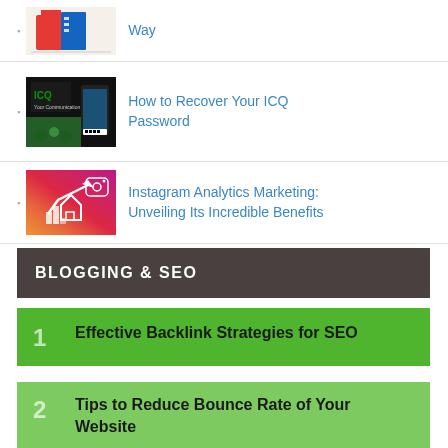Way
How to Recover Your ICQ Password
Instagram Analytics Marketing: Unveiling Its Incredible Benefits
BLOGGING & SEO
1 Effective Backlink Strategies for SEO
2 Tips to Reduce Bounce Rate of Your Website
How to Achieve Higher Ranking